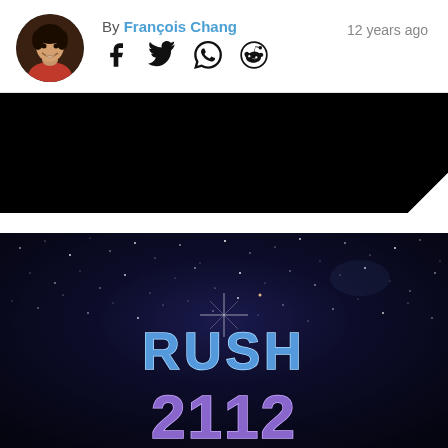[Figure (photo): Circular profile photo of François Chang, a man smiling, dark background]
By François Chang
12 years ago
[Figure (illustration): Social share icons: Facebook, Twitter, WhatsApp, Reddit]
[Figure (photo): Black banner/header bar with jagged bottom-right corner]
[Figure (photo): Rush 2112 album cover art — dark starry night sky with blue stylized text 'RUSH' and '2112' in retro lettering]